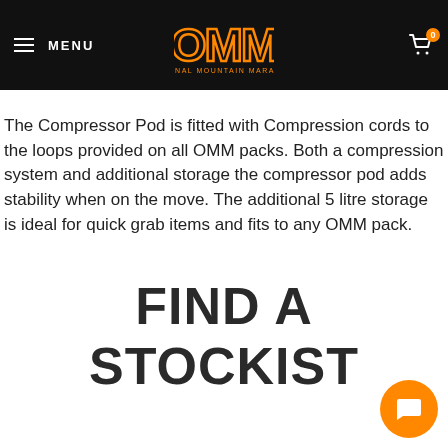MENU | OMM ORIGINAL MOUNTAIN MARATHON | 0
The Compressor Pod is fitted with Compression cords to the loops provided on all OMM packs. Both a compression system and additional storage the compressor pod adds stability when on the move. The additional 5 litre storage is ideal for quick grab items and fits to any OMM pack.
FIND A STOCKIST